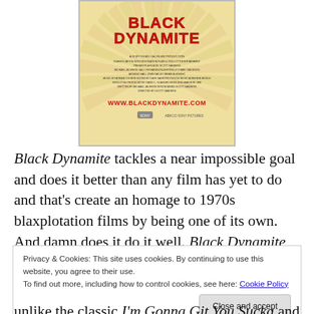[Figure (photo): Movie poster for Black Dynamite showing stylized retro 1970s blaxploitation film design with yellow sunburst background, red title text, credits, website URL www.blackdynamite.com, and distributor logos.]
Black Dynamite tackles a near impossible goal and does it better than any film has yet to do and that's create an homage to 1970s blaxplotation films by being one of its own. And damn does it do it well. Black Dynamite takes everything beautiful about the low-budget socially reflexive genre (the inconsistent editing, blatant use of stunt
Privacy & Cookies: This site uses cookies. By continuing to use this website, you agree to their use.
To find out more, including how to control cookies, see here: Cookie Policy
Close and accept
unlike the classic I'm Gonna Git You Sucka and